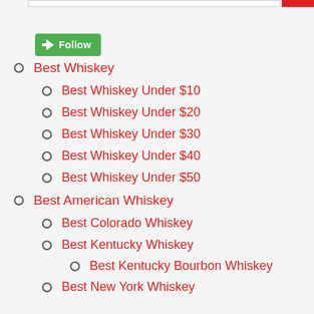[Figure (other): Green Follow button with arrow icon]
Best Whiskey
Best Whiskey Under $10
Best Whiskey Under $20
Best Whiskey Under $30
Best Whiskey Under $40
Best Whiskey Under $50
Best American Whiskey
Best Colorado Whiskey
Best Kentucky Whiskey
Best Kentucky Bourbon Whiskey
Best New York Whiskey